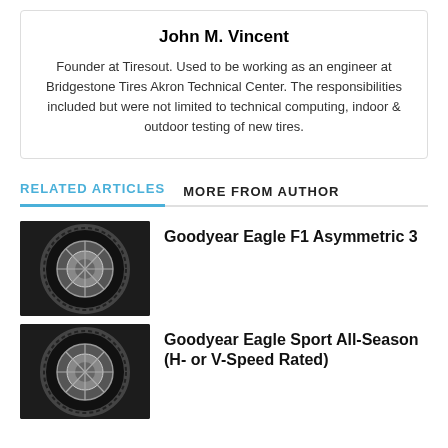John M. Vincent
Founder at Tiresout. Used to be working as an engineer at Bridgestone Tires Akron Technical Center. The responsibilities included but were not limited to technical computing, indoor & outdoor testing of new tires.
RELATED ARTICLES
MORE FROM AUTHOR
Goodyear Eagle F1 Asymmetric 3
[Figure (photo): Photo of a black tire with aluminum rim - Goodyear Eagle F1 Asymmetric 3]
Goodyear Eagle Sport All-Season (H- or V-Speed Rated)
[Figure (photo): Photo of a black tire with aluminum rim - Goodyear Eagle Sport All-Season]